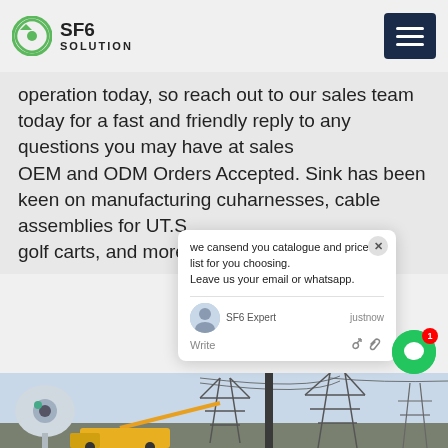SF6 SOLUTION
operation today, so reach out to our sales team today for a fast and friendly reply to any questions you may have at sales
OEM and ODM Orders Accepted. S...ink has been keen on manufacturing cu...harnesses, cable assemblies for UT...S...golf carts, and more We newly exten...ts
[Figure (screenshot): Chat popup overlay showing message: 'we can send you catalogue and price list for you choosing. Leave us your email or whatsapp.' with SF6 Expert agent avatar, justnow timestamp, and Write input field with like and attachment icons. Green circular chat button with badge '1' visible on right side.]
[Figure (photo): Photo of electrical substation/transmission tower construction site with yellow crane truck, power line towers and equipment, PTZ security camera in foreground on left side.]